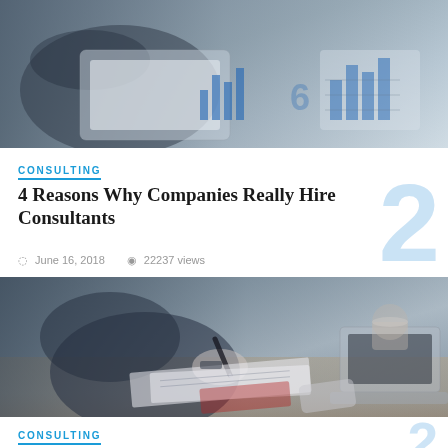[Figure (photo): Business person reviewing financial charts and documents on a tablet, top portion]
CONSULTING
4 Reasons Why Companies Really Hire Consultants
June 16, 2018  22237 views
[Figure (photo): Business person in suit holding a pen over documents at a desk with a laptop]
CONSULTING